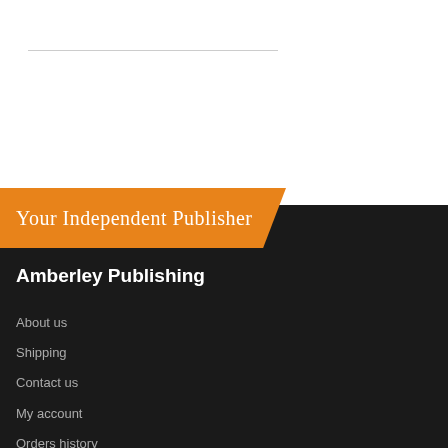[Figure (other): Horizontal divider line near top of white section]
[Figure (other): Orange banner with diagonal right edge containing 'Your Independent Publisher' in handwritten/cursive font]
Amberley Publishing
About us
Shipping
Contact us
My account
Orders history
Advanced search
Cookies Policy
Privacy Policy